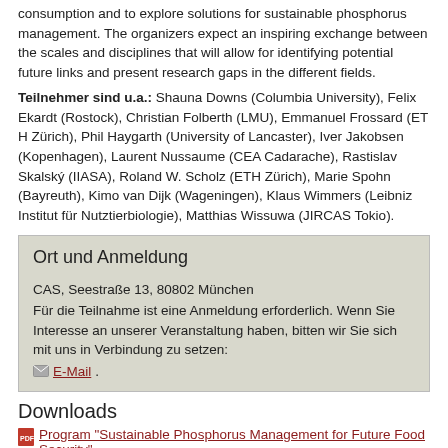consumption and to explore solutions for sustainable phosphorus management. The organizers expect an inspiring exchange between the scales and disciplines that will allow for identifying potential future links and present research gaps in the different fields.
Teilnehmer sind u.a.: Shauna Downs (Columbia University), Felix Ekardt (Rostock), Christian Folberth (LMU), Emmanuel Frossard (ET H Zürich), Phil Haygarth (University of Lancaster), Iver Jakobsen (Kopenhagen), Laurent Nussaume (CEA Cadarache), Rastislav Skalský (IIASA), Roland W. Scholz (ETH Zürich), Marie Spohn (Bayreuth), Kimo van Dijk (Wageningen), Klaus Wimmers (Leibniz Institut für Nutztierbiologie), Matthias Wissuwa (JIRCAS Tokio).
Ort und Anmeldung
CAS, Seestraße 13, 80802 München
Für die Teilnahme ist eine Anmeldung erforderlich. Wenn Sie Interesse an unserer Veranstaltung haben, bitten wir Sie sich mit uns in Verbindung zu setzen:
E-Mail.
Downloads
Program "Sustainable Phosphorus Management for Future Food Security"